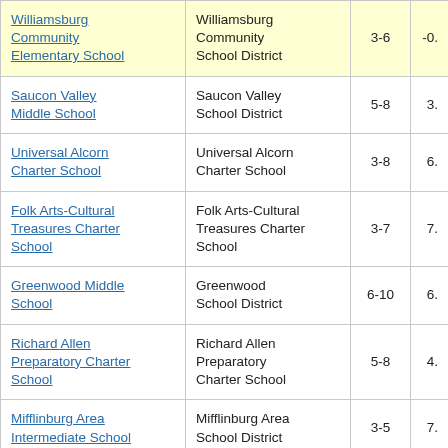| School | District | Grades | Score |
| --- | --- | --- | --- |
| Williamsburg Community Elementary School | Williamsburg Community School District | 3-6 | -0. |
| Saucon Valley Middle School | Saucon Valley School District | 5-8 | 3. |
| Universal Alcorn Charter School | Universal Alcorn Charter School | 3-8 | 6. |
| Folk Arts-Cultural Treasures Charter School | Folk Arts-Cultural Treasures Charter School | 3-7 | 7. |
| Greenwood Middle School | Greenwood School District | 6-10 | 6. |
| Richard Allen Preparatory Charter School | Richard Allen Preparatory Charter School | 5-8 | 4. |
| Mifflinburg Area Intermediate School | Mifflinburg Area School District | 3-5 | 7. |
| Sinking Springs | Central York |  |  |